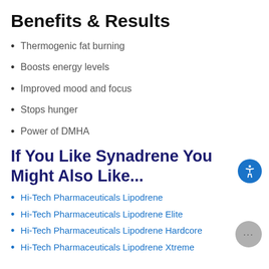Benefits & Results
Thermogenic fat burning
Boosts energy levels
Improved mood and focus
Stops hunger
Power of DMHA
If You Like Synadrene You Might Also Like...
Hi-Tech Pharmaceuticals Lipodrene
Hi-Tech Pharmaceuticals Lipodrene Elite
Hi-Tech Pharmaceuticals Lipodrene Hardcore
Hi-Tech Pharmaceuticals Lipodrene Xtreme